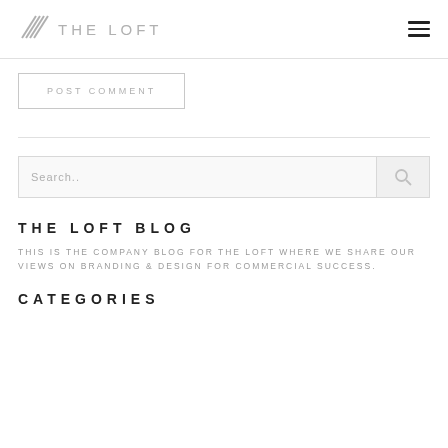THE LOFT
POST COMMENT
Search..
THE LOFT BLOG
THIS IS THE COMPANY BLOG FOR THE LOFT WHERE WE SHARE OUR VIEWS ON BRANDING & DESIGN FOR COMMERCIAL SUCCESS.
CATEGORIES